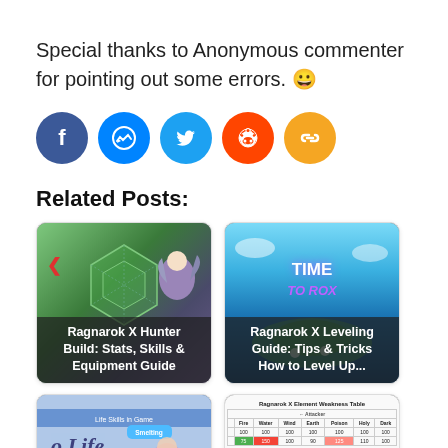Special thanks to Anonymous commenter for pointing out some errors. 😀
[Figure (infographic): Row of five social media share icons: Facebook (dark blue), Messenger (blue), Twitter (light blue), Reddit (orange), Copy Link (gold/orange)]
Related Posts:
[Figure (illustration): Card thumbnail for Ragnarok X Hunter Build article showing hexagon stat chart and anime character with wings]
[Figure (illustration): Card thumbnail for Ragnarok X Leveling Guide article showing 'TIME TO ROX' stylized logo over tropical island scene]
[Figure (screenshot): Card thumbnail showing Life Skills in Game UI with Smelting button and character sprite]
[Figure (table-as-image): Card thumbnail showing Ragnarok X Element Weakness Table with Fire, Water, Wind, Earth, Poison, Holy, Dark columns and colored cells]